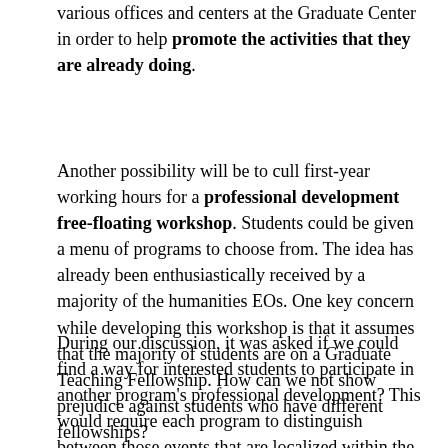various offices and centers at the Graduate Center in order to help promote the activities that they are already doing.
Another possibility will be to cull first-year working hours for a professional development free-floating workshop. Students could be given a menu of programs to choose from. The idea has already been enthusiastically received by a majority of the humanities EOs. One key concern while developing this workshop is that it assumes that the majority of students are on a Graduate Teaching Fellowship. How can we not show prejudice against students who have different fellowships?
During our discussion, it was asked if we could find a way for interested students to participate in another program's professional development? This would require each program to distinguish between those events that are localized within the program and those that should be interdisciplinary.